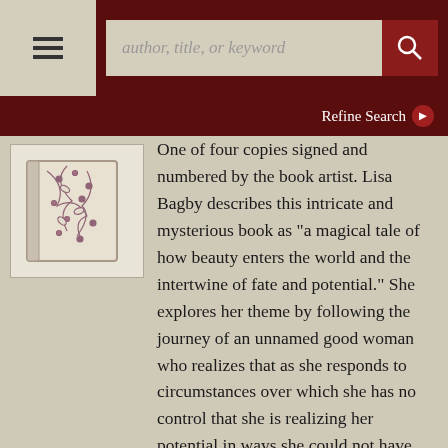author, title, or keyword [search bar with menu and search button]
Refine Search
[Figure (photo): A decorative book with cream and floral fabric cover featuring dark botanical patterns]
One of four copies signed and numbered by the book artist. Lisa Bagby describes this intricate and mysterious book as "a magical tale of how beauty enters the world and the intertwine of fate and potential." She explores her theme by following the journey of an unnamed good woman who realizes that as she responds to circumstances over which she has no control that she is realizing her potential in ways she could not have imagined. The artist incorporates striking visual and structural designs throughout this book to trace the course of the good woman's journey. They include screen printed patterns of foliage